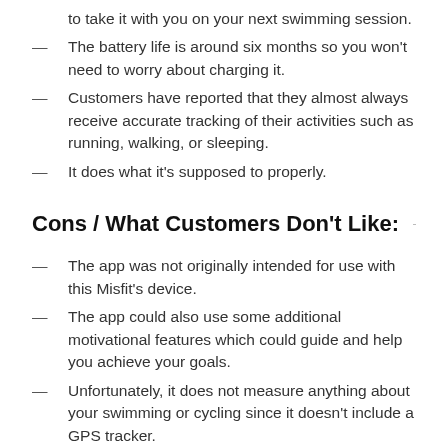to take it with you on your next swimming session.
The battery life is around six months so you won't need to worry about charging it.
Customers have reported that they almost always receive accurate tracking of their activities such as running, walking, or sleeping.
It does what it's supposed to properly.
Cons / What Customers Don't Like:
The app was not originally intended for use with this Misfit's device.
The app could also use some additional motivational features which could guide and help you achieve your goals.
Unfortunately, it does not measure anything about your swimming or cycling since it doesn't include a GPS tracker.